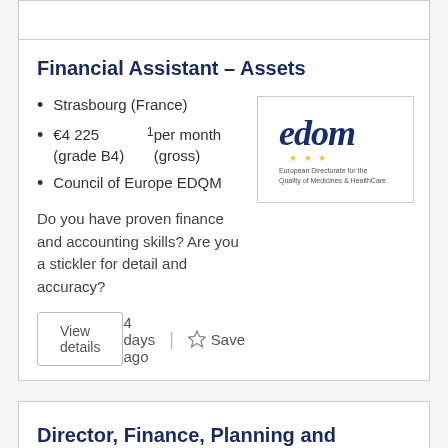Financial Assistant – Assets
Strasbourg (France)
€4 225 (grade B4) ¹ per month (gross)
Council of Europe EDQM
[Figure (logo): EDQM logo – European Directorate for the Quality of Medicines & HealthCare]
Do you have proven finance and accounting skills? Are you a stickler for detail and accuracy?
View details
4 days ago
Save
Director, Finance, Planning and Performance